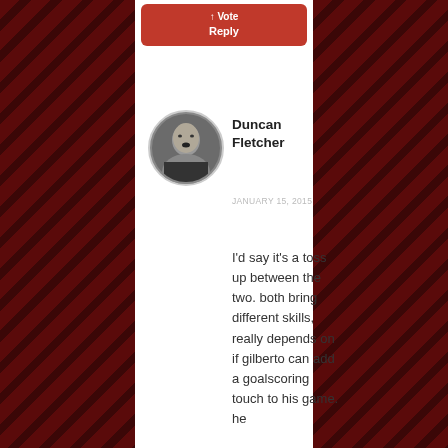[Figure (other): Red and black diagonal stripe side panel on the left]
[Figure (other): Red and black diagonal stripe side panel on the right]
[Figure (other): Partially visible red Reply button at the top center]
[Figure (photo): Circular avatar photo of Duncan Fletcher, a man in a dark suit, black and white image]
Duncan Fletcher
JANUARY 15, 2015
I'd say it's a toss up between the two. both bring different skills, really depends on if gilberto can add a goalscoring touch to his game. he